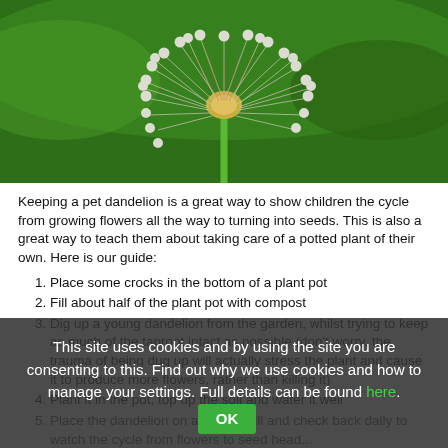[Figure (photo): Close-up photograph of a dandelion seed head (clock) against a green background, showing white fluffy seeds radiating outward from the center with pinkish stems visible.]
Keeping a pet dandelion is a great way to show children the cycle from growing flowers all the way to turning into seeds. This is also a great way to teach them about taking care of a potted plant of their own. Here is our guide:
Place some crocks in the bottom of a plant pot
Fill about half of the plant pot with compost
Dig up a young dandelion from the garden, whilst trying to keep as much of the taproot intact as possible (don't worry, the trauma of being dug up will actually stress the plant and cause it to produce more flowers, rather than killing it)
Plant it in the pot, top up the soil and water it well
Place the dandelion on a windowsill and check back daily to watch the cycle from flowers to seed head...
Did You Know? A lot of people class dandelions as a weed, but they're actually really important as a food source for insects, especially bees. Why not see how many different insects land on your dandelion?
This site uses cookies and by using the site you are consenting to this. Find out why we use cookies and how to manage your settings. Full details can be found here. OK